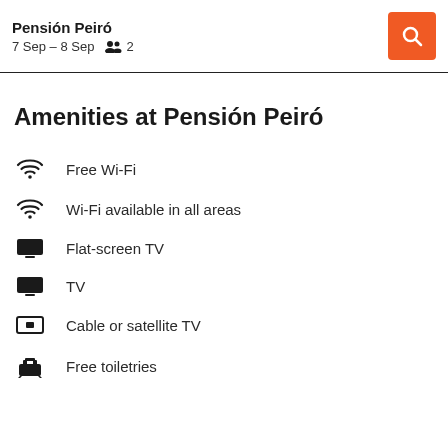Pensión Peiró
7 Sep – 8 Sep  2
Amenities at Pensión Peiró
Free Wi-Fi
Wi-Fi available in all areas
Flat-screen TV
TV
Cable or satellite TV
Free toiletries